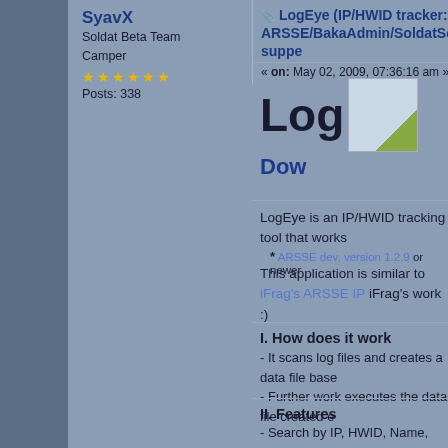SyavX
Soldat Beta Team
Camper
★★★★★★
Posts: 338
LogEye (IP/HWID tracker: ARSSE/BakaAdmin/SoldatServer suppe
« on: May 02, 2009, 07:36:16 am »
Log
Dow
LogEye is an IP/HWID tracking tool that works
* ARSSE dev, version 1.2.9 or newer
This application is similar to iFrag's ARSSE IP iFrag's work :)
I. How does it work
- It scans log files and creates a data file base
- Further work executes the data file created e
II. Features
- Search by IP, HWID, Name, Server, Date
- Search using glob patterns (wildcards)
- Update data files with unique entries only*